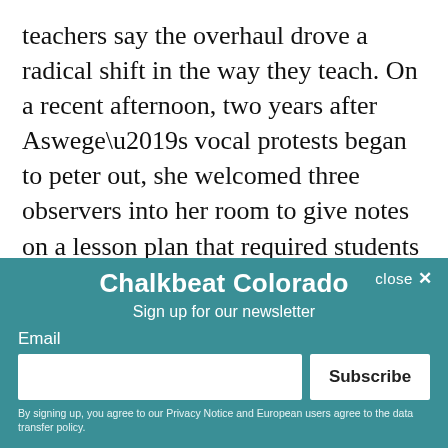teachers say the overhaul drove a radical shift in the way they teach. On a recent afternoon, two years after Aswege’s vocal protests began to peter out, she welcomed three observers into her room to give notes on a lesson plan that required students to give each other feedback on their writing.
“I’m constantly begging them to come in my
[Figure (screenshot): Newsletter signup modal overlay for Chalkbeat Colorado with email input and Subscribe button, overlaid on article text]
room,” Aswege said. Ellis and a team of 15 former teachers he hired coached teachers at the school as mentors, spending some months in rooms.